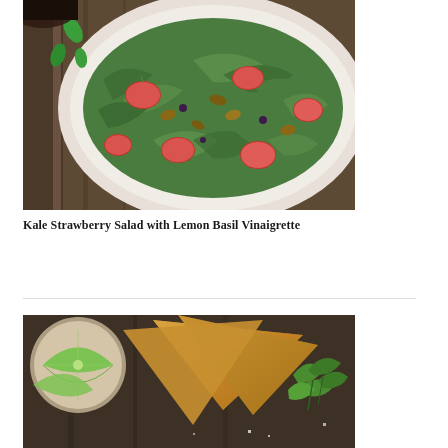[Figure (photo): Overhead view of a large white bowl filled with kale strawberry salad with pecans and greens on a wooden surface]
Kale Strawberry Salad with Lemon Basil Vinaigrette
[Figure (photo): Overhead view of seasoned tortilla chip triangles with lime wedges and cilantro on a dark wooden surface]